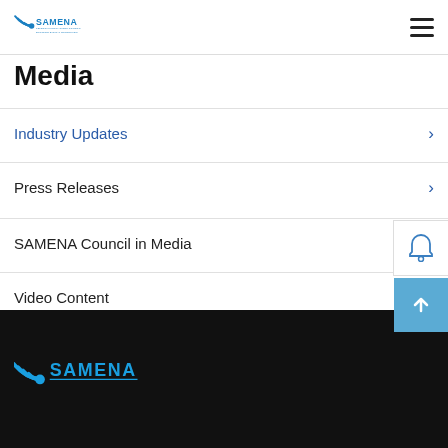[Figure (logo): SAMENA Telecommunications Council - Building Digital Economies logo, top left header]
Media
Industry Updates
Press Releases
SAMENA Council in Media
Video Content
[Figure (logo): SAMENA logo repeated in dark footer area]